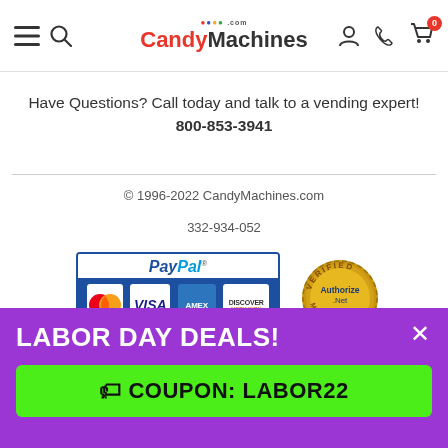CandyMachines.com navigation bar with menu, search, logo, account, phone, and cart icons
Have Questions? Call today and talk to a vending expert! 800-853-3941
© 1996-2022 CandyMachines.com
332-934-052
[Figure (logo): PayPal accepted payment methods badge showing MasterCard, VISA, AMEX, DISCOVER cards]
[Figure (logo): Authorize.Net Verified Merchant seal]
LABOR DAY DEALS!
COUPON: LABOR22